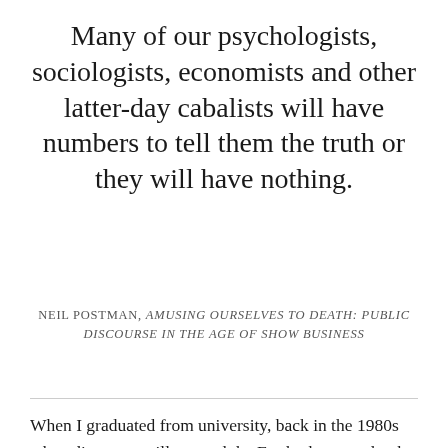Many of our psychologists, sociologists, economists and other latter-day cabalists will have numbers to tell them the truth or they will have nothing.
NEIL POSTMAN, AMUSING OURSELVES TO DEATH: PUBLIC DISCOURSE IN THE AGE OF SHOW BUSINESS
When I graduated from university, back in the 1980s when dinosaurs still roamed the Earth, there used to be an institution known as the Milk Round, whereby various corporations toured universities hoping to recruit the nation's best and brightest. Rather disappointingly, to my mind, most